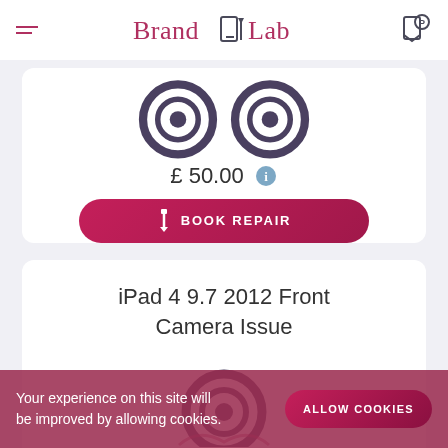BrandLab
[Figure (illustration): Camera/lens icon illustration - two circular camera lens rings in dark grey, shown from top, partial view]
£ 50.00
BOOK REPAIR
iPad 4 9.7 2012 Front Camera Issue
[Figure (illustration): Camera/lens icon illustration - single circular camera lens ring in dark grey, partial view]
Your experience on this site will be improved by allowing cookies.
ALLOW COOKIES